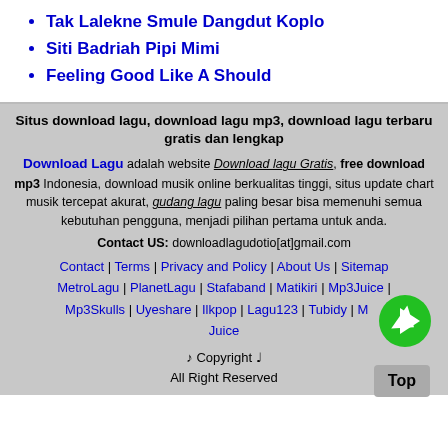Tak Lalekne Smule Dangdut Koplo
Siti Badriah Pipi Mimi
Feeling Good Like A Should
Situs download lagu, download lagu mp3, download lagu terbaru gratis dan lengkap
Download Lagu adalah website Download lagu Gratis, free download mp3 Indonesia, download musik online berkualitas tinggi, situs update chart musik tercepat akurat, gudang lagu paling besar bisa memenuhi semua kebutuhan pengguna, menjadi pilihan pertama untuk anda.
Contact US: downloadlagudotio[at]gmail.com
Contact | Terms | Privacy and Policy | About Us | Sitemap MetroLagu | PlanetLagu | Stafaband | Matikiri | Mp3Juice | Mp3Skulls | Uyeshare | Ilkpop | Lagu123 | Tubidy | Mp3Juice
♪ Copyright ♩ All Right Reserved